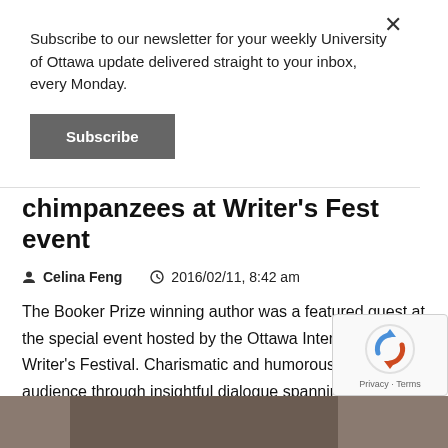Subscribe to our newsletter for your weekly University of Ottawa update delivered straight to your inbox, every Monday.
Subscribe
chimpanzees at Writer's Fest event
Celina Feng   2016/02/11, 8:42 am
The Booker Prize winning author was a featured guest at the special event hosted by the Ottawa International Writer's Festival. Charismatic and humorous, he led the audience through insightful dialogue spanning topics from religion and philosophy to language and authorship while promoting his new book.
[Figure (photo): Partial bottom strip showing the top of a person seated in front of a bookshelf]